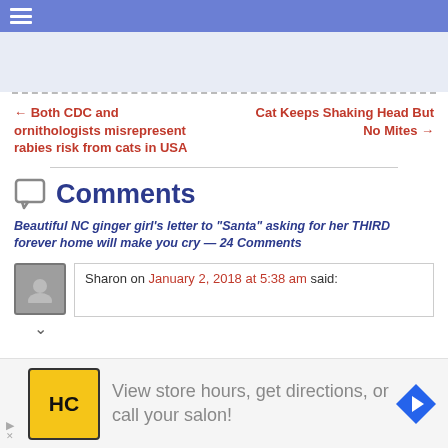Navigation bar
← Both CDC and ornithologists misrepresent rabies risk from cats in USA
Cat Keeps Shaking Head But No Mites →
Comments
Beautiful NC ginger girl's letter to "Santa" asking for her THIRD forever home will make you cry — 24 Comments
Sharon on January 2, 2018 at 5:38 am said:
[Figure (infographic): Advertisement: HC logo with text 'View store hours, get directions, or call your salon!' and navigation icon]